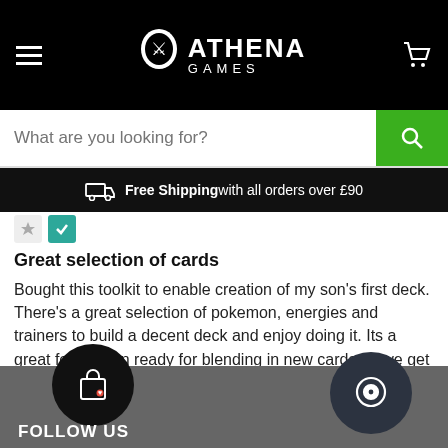ATHENA GAMES
What are you looking for?
Free Shipping with all orders over £90
Great selection of cards
Bought this toolkit to enable creation of my son's first deck. There's a great selection of pokemon, energies and trainers to build a decent deck and enjoy doing it. Its a great foundation ready for blending in new cards as we get them
FOLLOW US